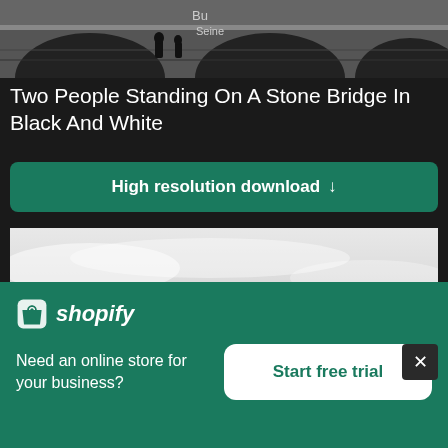[Figure (photo): Black and white photo of stone bridge arches with two people silhouetted standing on it, text 'Bu' and 'Seine' visible]
Two People Standing On A Stone Bridge In Black And White
High resolution download ↓
[Figure (photo): Black and white photo of overcast sky with clouds]
[Figure (logo): Shopify logo with shopping bag icon and italic text 'shopify']
Need an online store for your business?
Start free trial